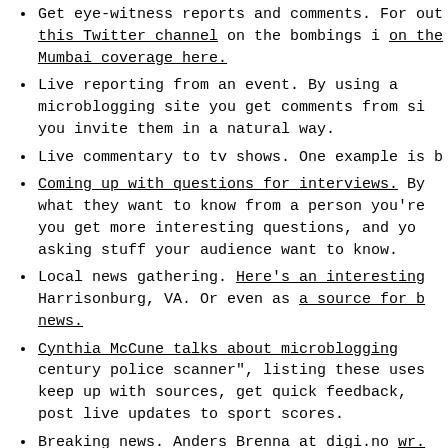Get eye-witness reports and comments. For out this Twitter channel on the bombings i on the Mumbai coverage here.
Live reporting from an event. By using a microblogging site you get comments from si you invite them in a natural way.
Live commentary to tv shows. One example is b
Coming up with questions for interviews. By what they want to know from a person you're you get more interesting questions, and yo asking stuff your audience want to know.
Local news gathering. Here's an interesting Harrisonburg, VA. Or even as a source for b news.
Cynthia McCune talks about microblogging century police scanner", listing these uses keep up with sources, get quick feedback, post live updates to sport scores.
Breaking news. Anders Brenna at digi.no wr. is both the perfect journalist tool for be: breaking news, and the best relief from t breaking news." Super-fast publishing of th without risking that the reader won't come for the full story. You can even send a mes to it once it's out.